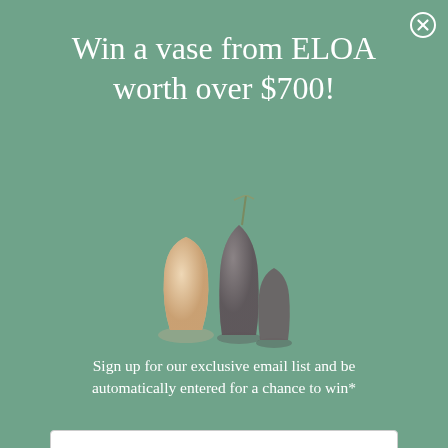[Figure (other): Close button (X) circle in top right corner]
Win a vase from ELOA worth over $700!
[Figure (photo): Three decorative glass vases from ELOA — a warm peach/cream teardrop vase, a dark smoky tall vase, and a dark smoky shorter vase with a dried plant arrangement]
Sign up for our exclusive email list and be automatically entered for a chance to win*
Email
Enter the Giveaway
*Please read our terms and conditions here